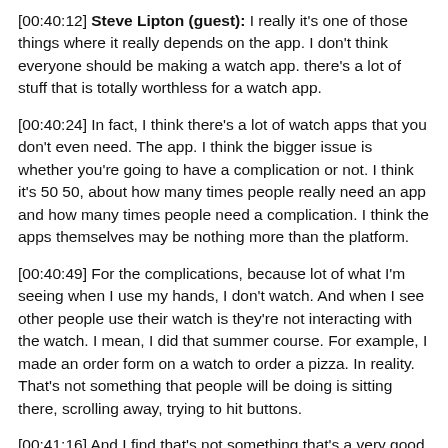[00:40:12] Steve Lipton (guest): I really it's one of those things where it really depends on the app. I don't think everyone should be making a watch app. there's a lot of stuff that is totally worthless for a watch app.
[00:40:24] In fact, I think there's a lot of watch apps that you don't even need. The app. I think the bigger issue is whether you're going to have a complication or not. I think it's 50 50, about how many times people really need an app and how many times people need a complication. I think the apps themselves may be nothing more than the platform.
[00:40:49] For the complications, because lot of what I'm seeing when I use my hands, I don't watch. And when I see other people use their watch is they're not interacting with the watch. I mean, I did that summer course. For example, I made an order form on a watch to order a pizza. In reality. That's not something that people will be doing is sitting there, scrolling away, trying to hit buttons.
[00:41:16] And I find that's not something that's a very good use of that small amount of real estate. They'll do that on their phones. Instead, what they'll do is they would like to look at their watch and know where when the delivery time is